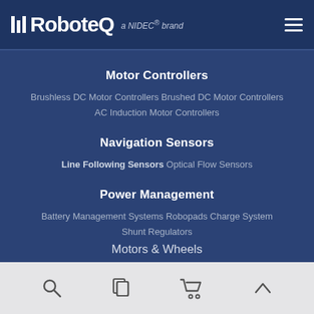RoboteQ a NIDEC® brand
Motor Controllers
Brushless DC Motor Controllers Brushed DC Motor Controllers AC Induction Motor Controllers
Navigation Sensors
Line Following Sensors Optical Flow Sensors
Power Management
Battery Management Systems Robopads Charge System Shunt Regulators
Motors & Wheels
IO Extenders & IMUs
Search | Documents | Cart | Up